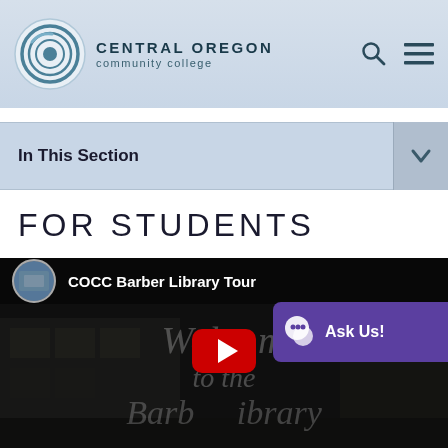CENTRAL OREGON community college
In This Section
FOR STUDENTS
[Figure (screenshot): YouTube video thumbnail for 'COCC Barber Library Tour' showing a darkened image of a library building exterior with the text 'Welcome to the Barber Library' overlaid. A red YouTube play button is centered on the video. An 'Ask Us!' chat bubble widget is visible in the upper right corner.]